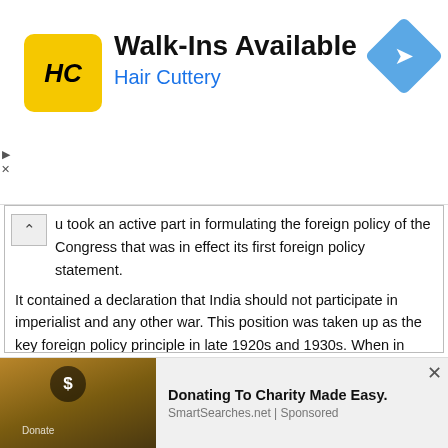[Figure (other): Hair Cuttery advertisement banner. Yellow square logo with HC letters, text 'Walk-Ins Available' in bold and 'Hair Cuttery' in blue, blue diamond arrow icon on right. Play and X buttons on left edge.]
u took an active part in formulating the foreign policy of the Congress that was in effect its first foreign policy statement.
It contained a declaration that India should not participate in imperialist and any other war. This position was taken up as the key foreign policy principle in late 1920s and 1930s. When in 1930s Japan, Italy and Germany engaged themselves in imperialist aggressions, the Congress condemned their brutal
We use cookies on our website to give you the most relevant experience by remembering your preferences and repeat visits. By clicking “Accept”, you consent to the use of ALL the cookies. Do not sell my personal information.
[Figure (other): Bottom advertisement banner showing a laptop with dollar sign and Donate text on screen, with text 'Donating To Charity Made Easy.' and 'SmartSearches.net | Sponsored'. Close X button on right.]